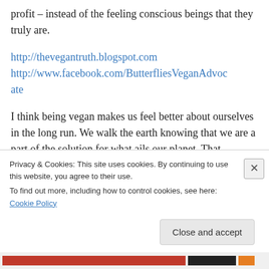profit – instead of the feeling conscious beings that they truly are.
http://thevegantruth.blogspot.com http://www.facebook.com/ButterfliesVeganAdvocate
I think being vegan makes us feel better about ourselves in the long run. We walk the earth knowing that we are a part of the solution for what ails our planet. That overrides the depression.
Privacy & Cookies: This site uses cookies. By continuing to use this website, you agree to their use. To find out more, including how to control cookies, see here: Cookie Policy